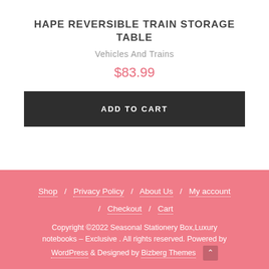HAPE REVERSIBLE TRAIN STORAGE TABLE
Vehicles And Trains
$83.99
ADD TO CART
Shop / Privacy Policy / About Us / My account / Checkout / Cart
Copyright ©2022 Seasonal Stationery Box,Luxury notebooks – Exclusive . All rights reserved. Powered by WordPress & Designed by Bizberg Themes